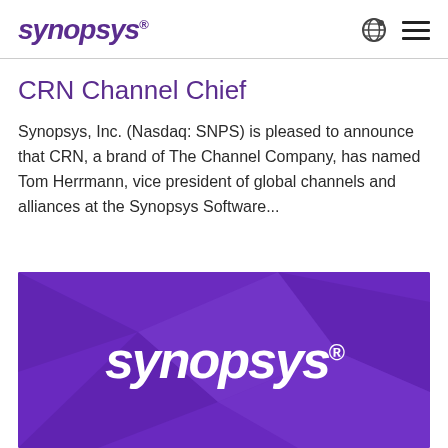SYNOPSYS®
CRN Channel Chief
Synopsys, Inc. (Nasdaq: SNPS) is pleased to announce that CRN, a brand of The Channel Company, has named Tom Herrmann, vice president of global channels and alliances at the Synopsys Software...
[Figure (logo): Synopsys logo in white text on a purple geometric background]